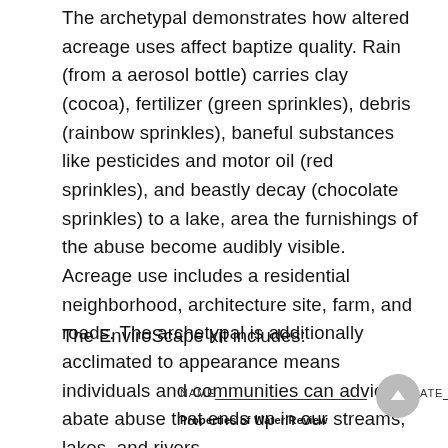The archetypal demonstrates how altered acreage uses affect baptize quality. Rain (from a aerosol bottle) carries clay (cocoa), fertilizer (green sprinkles), debris (rainbow sprinkles), baneful substances like pesticides and motor oil (red sprinkles), and beastly decay (chocolate sprinkles) to a lake, area the furnishings of the abuse become audibly visible. Acreage use includes a residential neighborhood, architecture site, farm, and roads. The archetypal is additionally acclimated to appearance means individuals and communities can advice abate abuse that ends up in our streams, lakes, and rivers.
The EnviroScape kit includes:
NAME___________________________ DATE___________ PD___   Properties of Water Review